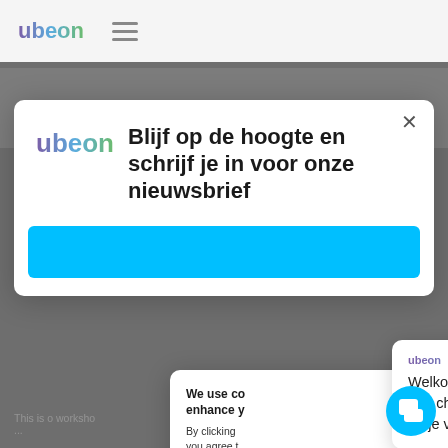ubeon
[Figure (screenshot): Ubeon website background with darkened overlay showing partial content below modals]
Blijf op de hoogte en schrijf je in voor onze nieuwsbrief
[Figure (other): Blue subscribe button bar]
We use co enhance y
By clicking you agree t
Welkom op deze site van ubeon. Start een chat om snel antwoord te krijgen op je vragen!
Accept
No, thanks
This is o worksho ...